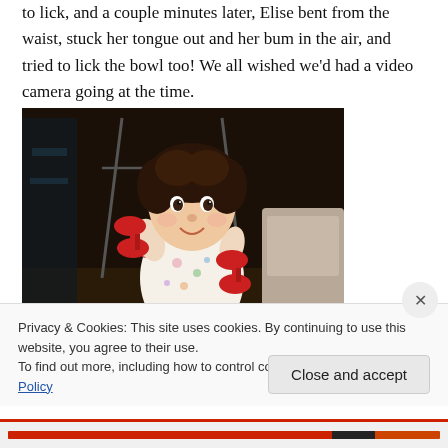to lick, and a couple minutes later, Elise bent from the waist, stuck her tongue out and her bum in the air, and tried to lick the bowl too!  We all wished we'd had a video camera going at the time.
[Figure (photo): A toddler in a floral pajama onesie holding red dumbbells, smiling at the camera, in a living room setting with dark background.]
Privacy & Cookies: This site uses cookies. By continuing to use this website, you agree to their use.
To find out more, including how to control cookies, see here: Cookie Policy
Close and accept